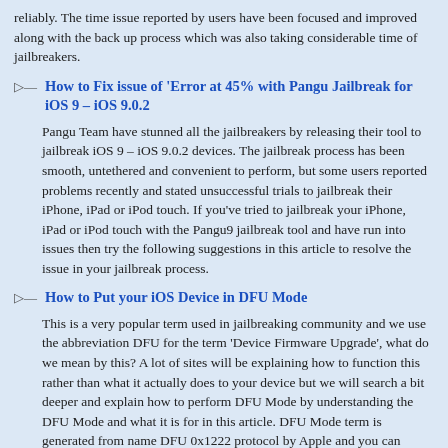reliably. The time issue reported by users have been focused and improved along with the back up process which was also taking considerable time of jailbreakers.
How to Fix issue of 'Error at 45% with Pangu Jailbreak for iOS 9 – iOS 9.0.2
Pangu Team have stunned all the jailbreakers by releasing their tool to jailbreak iOS 9 – iOS 9.0.2 devices. The jailbreak process has been smooth, untethered and convenient to perform, but some users reported problems recently and stated unsuccessful trials to jailbreak their iPhone, iPad or iPod touch. If you've tried to jailbreak your iPhone, iPad or iPod touch with the Pangu9 jailbreak tool and have run into issues then try the following suggestions in this article to resolve the issue in your jailbreak process.
How to Put your iOS Device in DFU Mode
This is a very popular term used in jailbreaking community and we use the abbreviation DFU for the term 'Device Firmware Upgrade', what do we mean by this? A lot of sites will be explaining how to function this rather than what it actually does to your device but we will search a bit deeper and explain how to perform DFU Mode by understanding the DFU Mode and what it is for in this article. DFU Mode term is generated from name DFU 0x1222 protocol by Apple and you can recover your device by using DFU Mode where necessary by not loading iOS operating system or Boot Loader by using iTunes, this is the main difference between Recovery and DFU Mode.